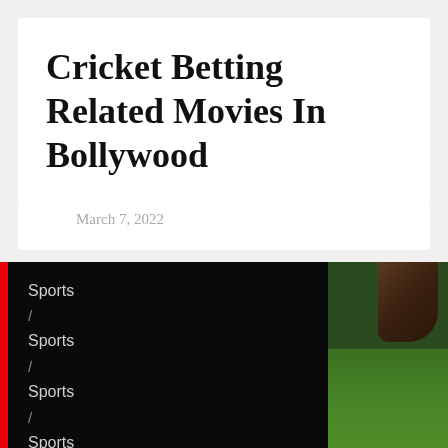Cricket Betting Related Movies In Bollywood
March 7, 2022
[Figure (screenshot): Dark panel with red left border showing navigation breadcrumb items repeating 'Sports' and '/' separators, alongside a photo of green cricket grass pitch with brown object in upper right corner.]